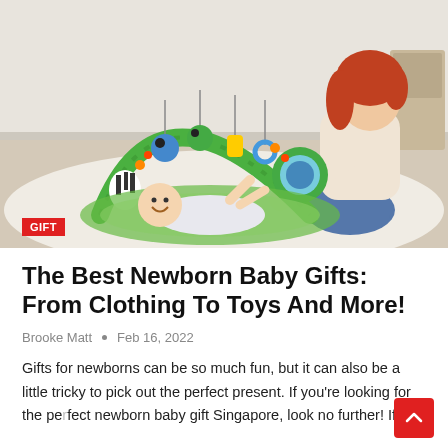[Figure (photo): A smiling red-haired woman sitting on a carpet, watching a baby lying on a colorful green jungle-themed baby play gym mat with hanging toys.]
The Best Newborn Baby Gifts: From Clothing To Toys And More!
Brooke Matt • Feb 16, 2022
Gifts for newborns can be so much fun, but it can also be a little tricky to pick out the perfect present. If you're looking for the perfect newborn baby gift Singapore, look no further! If